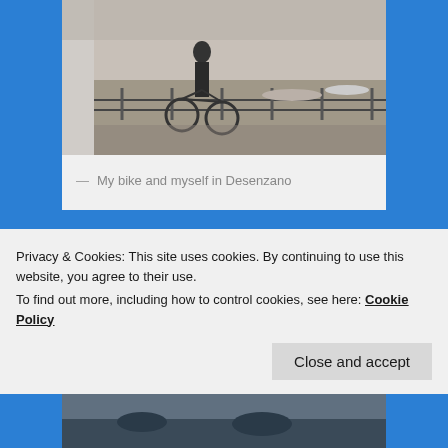[Figure (photo): Black and white photo of a bike parked near a waterfront railing in Desenzano, with boats and people in the background]
— My bike and myself in Desenzano
[Figure (photo): Photo of a dramatic sky with silhouetted trees or landmass at the bottom, taken in a travel location]
Privacy & Cookies: This site uses cookies. By continuing to use this website, you agree to their use.
To find out more, including how to control cookies, see here: Cookie Policy
[Figure (photo): Partial view of another travel photo at the bottom of the page]